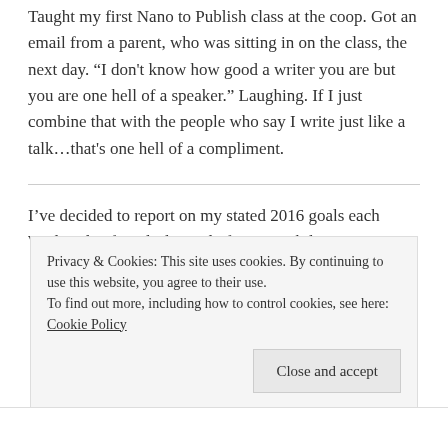Taught my first Nano to Publish class at the coop. Got an email from a parent, who was sitting in on the class, the next day. “I don't know how good a writer you are but you are one hell of a speaker.” Laughing. If I just combine that with the people who say I write just like a talk…that's one hell of a compliment.
I’ve decided to report on my stated 2016 goals each Wednesday for a little prod of accountability.
Privacy & Cookies: This site uses cookies. By continuing to use this website, you agree to their use.
To find out more, including how to control cookies, see here: Cookie Policy